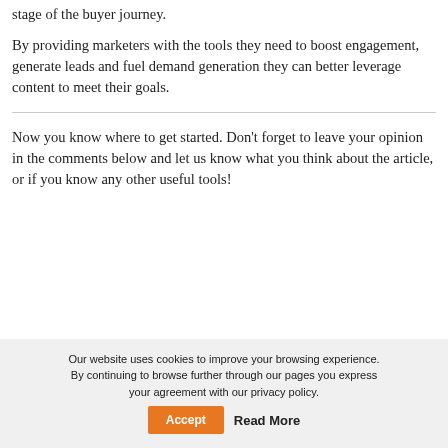stage of the buyer journey.
By providing marketers with the tools they need to boost engagement, generate leads and fuel demand generation they can better leverage content to meet their goals.
Now you know where to get started. Don’t forget to leave your opinion in the comments below and let us know what you think about the article, or if you know any other useful tools!
Our website uses cookies to improve your browsing experience. By continuing to browse further through our pages you express your agreement with our privacy policy.